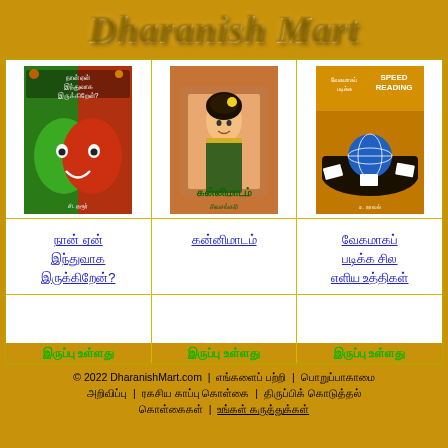Dharanish Mart
[Figure (illustration): Book cover 1: நான் ஏன் இந்துவாக இருக்கிறேன்? - colorful illustrated cover with face]
நான் ஏன் இந்துவாக இருக்கிறேன்?
[Figure (illustration): Book cover 2: கன்னிமாடம் - classical Tamil woman illustration]
கன்னிமாடம்
[Figure (illustration): Book cover 3: வேகமாகப் படிக்க சில எளிய உத்திகள் - Speed Reading book cover]
வேகமாகப் படிக்க சில எளிய உத்திகள்
இருப்பு உள்ளது
இருப்பு உள்ளது
இருப்பு உள்ளது
© 2022 DharanishMart.com  |  எங்களைப் பற்றி  |  பொறுப்பாகாமை அறிவிப்பு  |  ரகசிய காப்பு கொள்கை  |  திருப்பிக் கொடுத்தல் கொள்கைகள்  |  உங்கள் கருத்துக்கள்